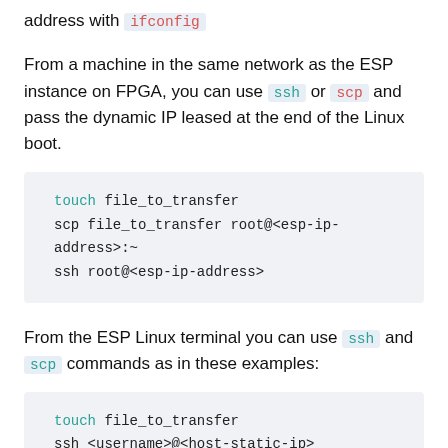address with ifconfig
From a machine in the same network as the ESP instance on FPGA, you can use ssh or scp and pass the dynamic IP leased at the end of the Linux boot.
touch file_to_transfer
scp file_to_transfer root@<esp-ip-address>:~
ssh root@<esp-ip-address>
From the ESP Linux terminal you can use ssh and scp commands as in these examples:
touch file_to_transfer
ssh <username>@<host-static-ip>
scp file_to_transfer <username>@<host-static-